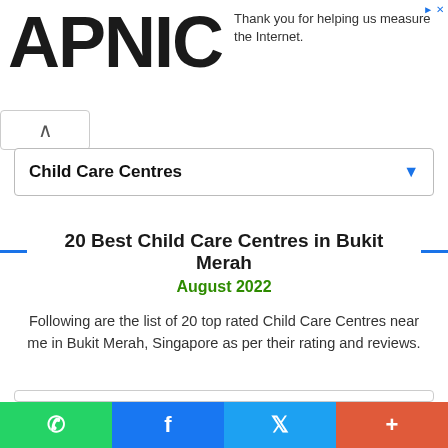APNIC — Thank you for helping us measure the Internet.
Child Care Centres
20 Best Child Care Centres in Bukit Merah
August 2022
Following are the list of 20 top rated Child Care Centres near me in Bukit Merah, Singapore as per their rating and reviews.
[Figure (other): Advertisement or content box placeholder]
WhatsApp | Facebook | Twitter | More